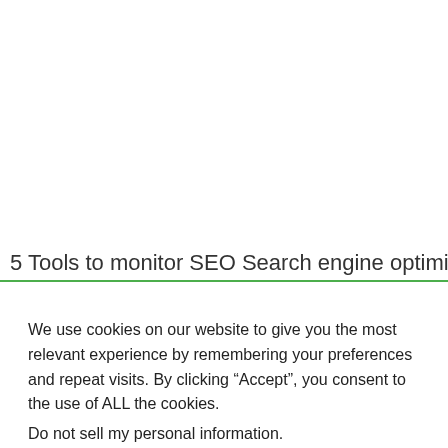5 Tools to monitor SEO Search engine optimization takes A
We use cookies on our website to give you the most relevant experience by remembering your preferences and repeat visits. By clicking “Accept”, you consent to the use of ALL the cookies.
Do not sell my personal information.